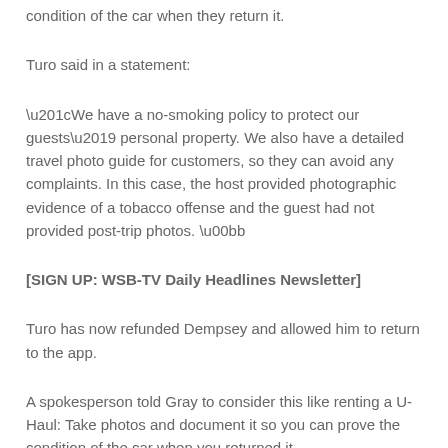condition of the car when they return it.
Turo said in a statement:
“We have a no-smoking policy to protect our guests’ personal property. We also have a detailed travel photo guide for customers, so they can avoid any complaints. In this case, the host provided photographic evidence of a tobacco offense and the guest had not provided post-trip photos. »
[SIGN UP: WSB-TV Daily Headlines Newsletter]
Turo has now refunded Dempsey and allowed him to return to the app.
A spokesperson told Gray to consider this like renting a U-Haul: Take photos and document it so you can prove the condition of the car when you returned it.